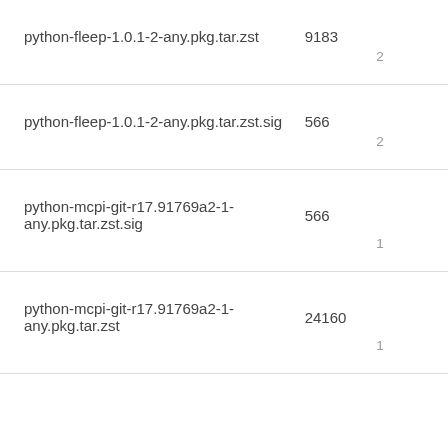| Name | Size | Date |
| --- | --- | --- |
| python-fleep-1.0.1-2-any.pkg.tar.zst | 9183 | 2… |
| python-fleep-1.0.1-2-any.pkg.tar.zst.sig | 566 | 2… |
| python-mcpi-git-r17.91769a2-1-any.pkg.tar.zst.sig | 566 | 1… |
| python-mcpi-git-r17.91769a2-1-any.pkg.tar.zst | 24160 | 1… |